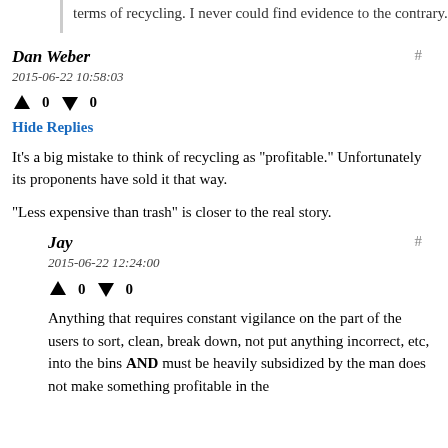terms of recycling. I never could find evidence to the contrary.
Dan Weber
2015-06-22 10:58:03
↑ 0 ↓ 0
Hide Replies
It's a big mistake to think of recycling as "profitable." Unfortunately its proponents have sold it that way.
"Less expensive than trash" is closer to the real story.
Jay
2015-06-22 12:24:00
↑ 0 ↓ 0
Anything that requires constant vigilance on the part of the users to sort, clean, break down, not put anything incorrect, etc, into the bins AND must be heavily subsidized by the man does not make something profitable in the